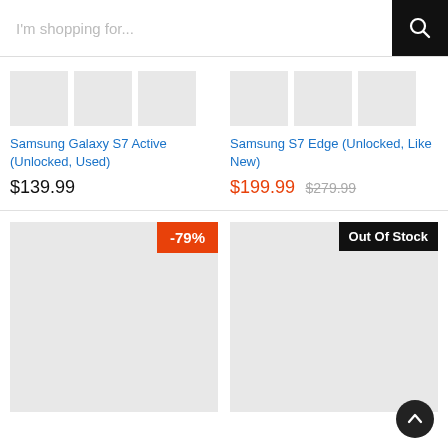I'm shopping for...
[Figure (screenshot): Search bar with magnifying glass icon on black background]
[Figure (photo): Three placeholder thumbnail images for Samsung Galaxy S7 Active]
Samsung Galaxy S7 Active (Unlocked, Used)
$139.99
[Figure (photo): Three placeholder thumbnail images for Samsung S7 Edge]
Samsung S7 Edge (Unlocked, Like New)
$199.99 $279.99
[Figure (photo): Large placeholder product image with -79% discount badge]
[Figure (photo): Large placeholder product image with Out Of Stock badge]